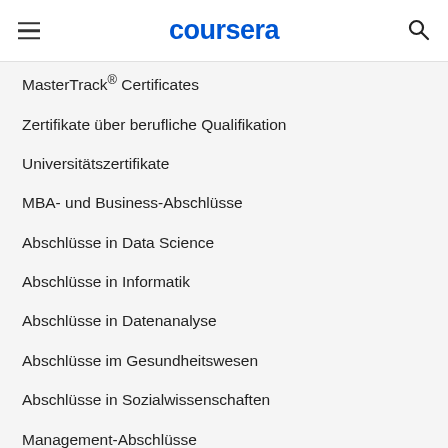coursera
MasterTrack® Certificates
Zertifikate über berufliche Qualifikation
Universitätszertifikate
MBA- und Business-Abschlüsse
Abschlüsse in Data Science
Abschlüsse in Informatik
Abschlüsse in Datenanalyse
Abschlüsse im Gesundheitswesen
Abschlüsse in Sozialwissenschaften
Management-Abschlüsse
Abschlüsse von europäischen Spitzenuniversitäten
Masterabschlüsse
Bachelorabschlüsse
Studiengänge mit Performance Pathway